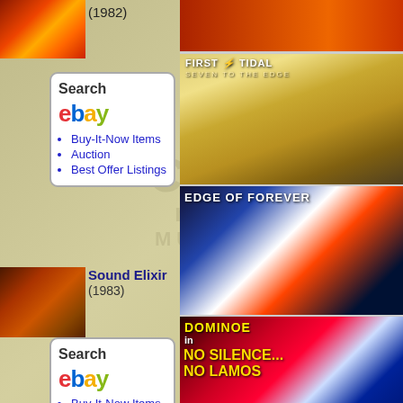[Figure (screenshot): Website listing music albums with eBay search widget and album cover thumbnails. Left side has faded watermark background with 'Cineri Music' style logo. Center shows album thumbnails with titles and eBay search boxes. Right column shows album cover images.]
(1982)
Search
Buy-It-Now Items
Auction
Best Offer Listings
Sound Elixir
(1983)
Search
Buy-It-Now Items